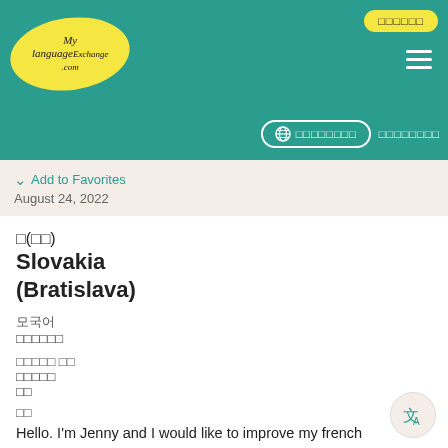[Figure (logo): MyLanguageExchange.com logo in yellow oval on teal header]
Header navigation with login button, hamburger menu, language selector, and register link
Add to Favorites
August 24, 2022
□(□□)
Slovakia
(Bratislava)
모국어
□□□□□□
□□□□□ □□
□□□□□
□□
□□
Hello. I'm Jenny and I would like to improve my french which is on really basic level. I can teach you slovak in exchange and i speak english quite well.